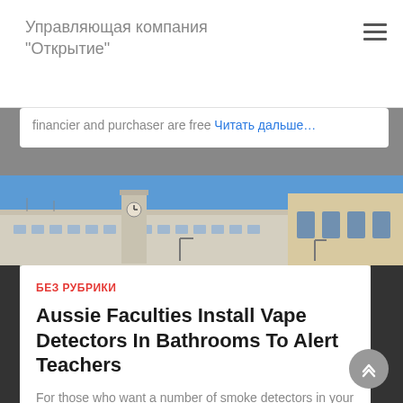Управляющая компания «Открытие»
financier and purchaser are free Читать дальше…
[Figure (photo): Street-level photo of a multi-storey city building with a clock tower under blue sky]
БЕЗ РУБРИКИ
Aussie Faculties Install Vape Detectors In Bathrooms To Alert Teachers
For those who want a number of smoke detectors in your new home, you'll love the Vitowell three Pack Hearth Alarms Smoke Detector. Juul came under hearth for a surge in youth vaping over its Читать дальше…